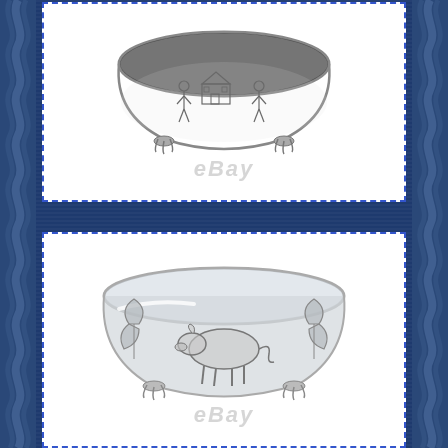[Figure (photo): Silver decorative bowl with engraved countryside scene featuring a cottage and figures, standing on four claw feet, photographed from above-front angle. eBay watermark visible.]
[Figure (photo): Silver decorative bowl with embossed animal (cow) and leaf/floral motifs, standing on four ornate feet, photographed from front angle showing interior. eBay watermark visible.]